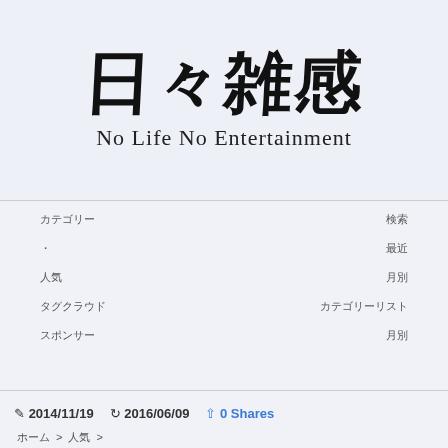メニュー
日々雑感
No Life No Entertainment
| Col1 | Col2 |
| --- | --- |
| カテゴリー | 検索 |
| ・ | 最近 |
| 人気 | 月別 |
| タグクラウド | カテゴリーリスト |
| スポンサー | 月別 |
2014/11/19  2016/06/09  0 Shares
ホーム > 人気 >